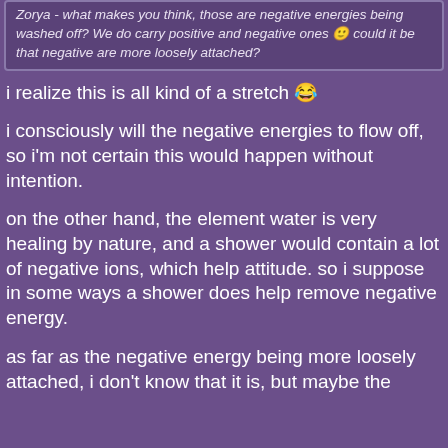Zorya - what makes you think, those are negative energies being washed off? We do carry positive and negative ones 🙂 could it be that negative are more loosely attached?
i realize this is all kind of a stretch 😁
i consciously will the negative energies to flow off, so i'm not certain this would happen without intention.
on the other hand, the element water is very healing by nature, and a shower would contain a lot of negative ions, which help attitude. so i suppose in some ways a shower does help remove negative energy.
as far as the negative energy being more loosely attached, i don't know that it is, but maybe the